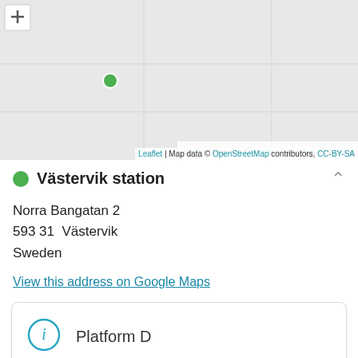[Figure (map): A grey map with a green location marker dot and a zoom control button in the top-left corner. Attribution reads: Leaflet | Map data © OpenStreetMap contributors, CC-BY-SA]
Västervik station
Norra Bangatan 2
593 31  Västervik
Sweden
View this address on Google Maps
Platform D